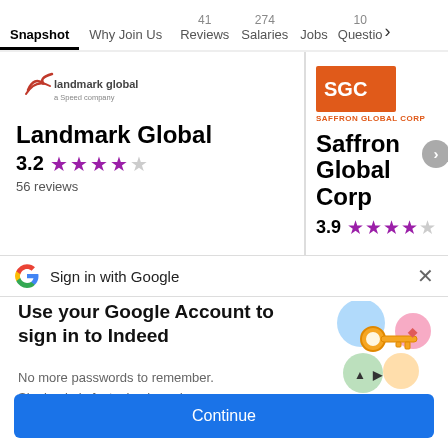Snapshot | Why Join Us | 41 Reviews | 274 Salaries | Jobs | 10 Questions >
[Figure (screenshot): Company comparison cards: Landmark Global (3.2 stars, 56 reviews) and Saffron Global Corp (3.9 stars), with navigation arrow]
Sign in with Google
Use your Google Account to sign in to Indeed
No more passwords to remember. Signing in is fast, simple and secure.
[Figure (illustration): Google sign-in key illustration with colorful circles and a golden key]
Continue